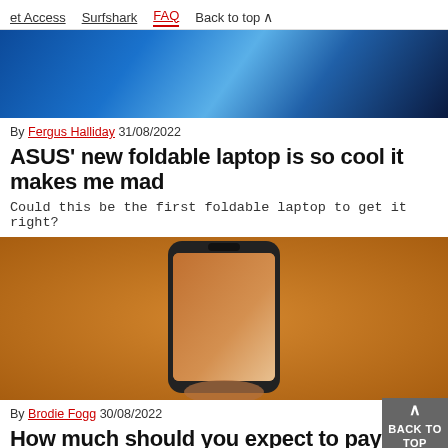et Access  Surfshark  FAQ  Back to top
[Figure (photo): Close-up of blue laptop or device with reflective surface]
By Fergus Halliday 31/08/2022
ASUS' new foldable laptop is so cool it makes me mad
Could this be the first foldable laptop to get it right?
[Figure (photo): Hand holding a smartphone against an orange background]
By Brodie Fogg 30/08/2022
How much should you expect to pay for the